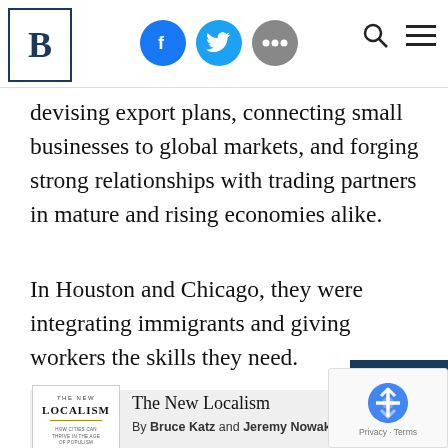B [Brookings logo] — social share icons (Facebook, Twitter, More) — Search, Menu
devising export plans, connecting small businesses to global markets, and forging strong relationships with trading partners in mature and rising economies alike.
In Houston and Chicago, they were integrating immigrants and giving workers the skills they need.
Related Books
[Figure (illustration): Book cover of The New Localism — white cover with gold divider line, subtitle 'How Cities Can Thrive in the Age of Populism']
The New Localism
By Bruce Katz and Jeremy Nowak · 20[17]